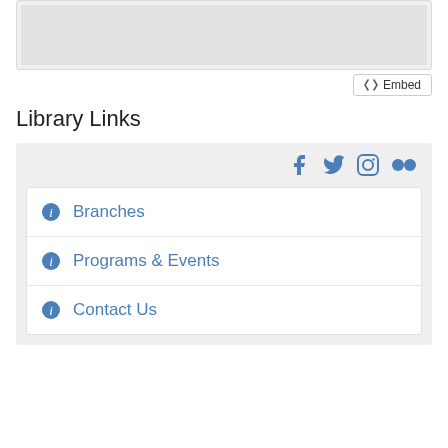[Figure (other): Map/image area at top of page, light gray placeholder]
<> Embed
Library Links
[Figure (screenshot): Library Links widget with social media icons (Facebook, Twitter, Instagram, Flickr) and three list items: Branches, Programs & Events, Contact Us]
Branches
Programs & Events
Contact Us